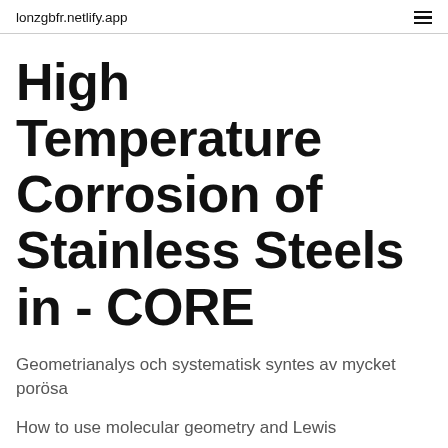lonzgbfr.netlify.app
High Temperature Corrosion of Stainless Steels in - CORE
Geometrianalys och systematisk syntes av mycket porösa
How to use molecular geometry and Lewis